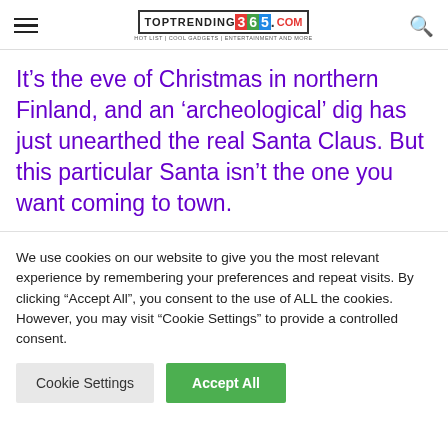TOPTRENDING365.COM
It’s the eve of Christmas in northern Finland, and an ‘archeological’ dig has just unearthed the real Santa Claus. But this particular Santa isn’t the one you want coming to town.
We use cookies on our website to give you the most relevant experience by remembering your preferences and repeat visits. By clicking “Accept All”, you consent to the use of ALL the cookies. However, you may visit “Cookie Settings” to provide a controlled consent.